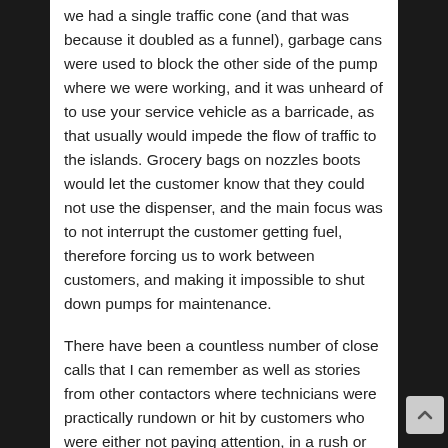...Being born again, at those times, we were lucky if we had a single traffic cone (and that was because it doubled as a funnel), garbage cans were used to block the other side of the pump where we were working, and it was unheard of to use your service vehicle as a barricade, as that usually would impede the flow of traffic to the islands. Grocery bags on nozzles boots would let the customer know that they could not use the dispenser, and the main focus was to not interrupt the customer getting fuel, therefore forcing us to work between customers, and making it impossible to shut down pumps for maintenance.
There have been a countless number of close calls that I can remember as well as stories from other contactors where technicians were practically rundown or hit by customers who were either not paying attention, in a rush or because they were annoyed that we were blocking their way.